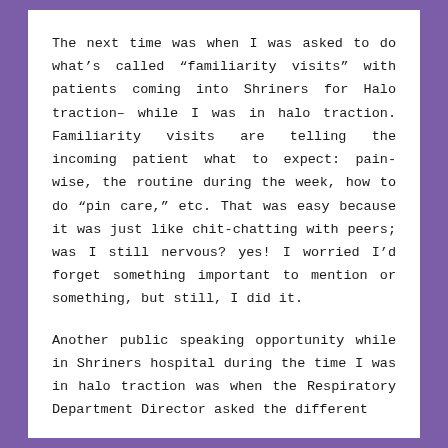The next time was when I was asked to do what’s called “familiarity visits” with patients coming into Shriners for Halo traction– while I was in halo traction. Familiarity visits are telling the incoming patient what to expect: pain-wise, the routine during the week, how to do “pin care,” etc. That was easy because it was just like chit-chatting with peers; was I still nervous? yes! I worried I’d forget something important to mention or something, but still, I did it.
Another public speaking opportunity while in Shriners hospital during the time I was in halo traction was when the Respiratory Department Director asked the different